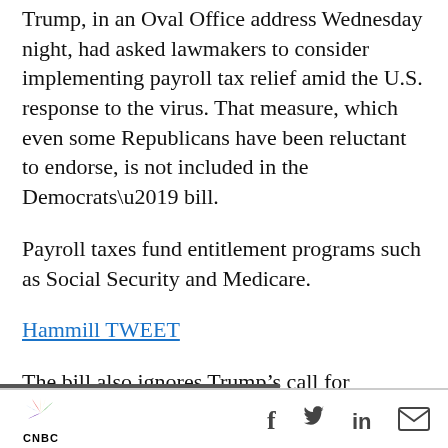Trump, in an Oval Office address Wednesday night, had asked lawmakers to consider implementing payroll tax relief amid the U.S. response to the virus. That measure, which even some Republicans have been reluctant to endorse, is not included in the Democrats’ bill.
Payroll taxes fund entitlement programs such as Social Security and Medicare.
Hammill TWEET
The bill also ignores Trump’s call for increased authority for Small Business Administration loans.
CNBC [logo] | f | Twitter | in | mail